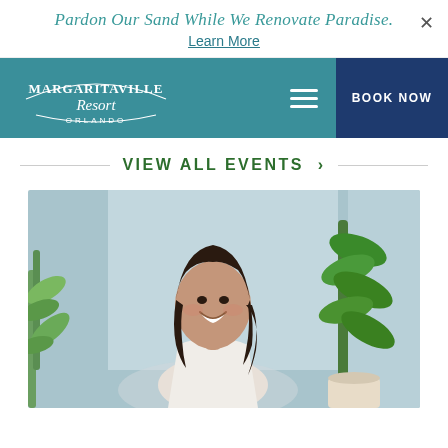Pardon Our Sand While We Renovate Paradise. Learn More
[Figure (logo): Margaritaville Resort Orlando logo in white text on teal background]
BOOK NOW
VIEW ALL EVENTS >
[Figure (photo): A smiling young woman with dark hair seated indoors surrounded by tropical plants]